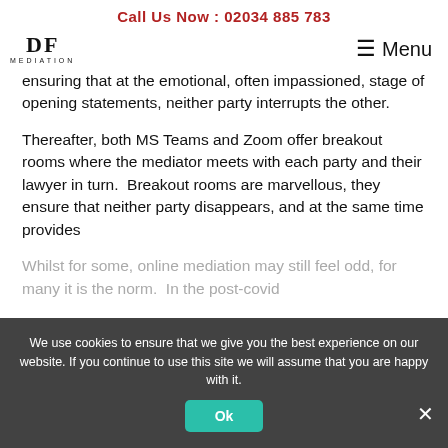Call Us Now : 02034 885 783
[Figure (logo): DF Mediation logo with stylized DF letters and MEDIATION text below]
Menu (hamburger navigation button)
ensuring that at the emotional, often impassioned, stage of opening statements, neither party interrupts the other.
Thereafter, both MS Teams and Zoom offer breakout rooms where the mediator meets with each party and their lawyer in turn.  Breakout rooms are marvellous, they ensure that neither party disappears, and at the same time provides
We use cookies to ensure that we give you the best experience on our website. If you continue to use this site we will assume that you are happy with it.
Whilst for some, online mediation may still feel odd, for many it is the norm.  In the post-covid